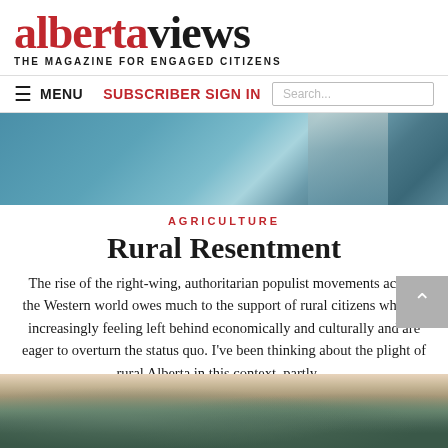albertaviews THE MAGAZINE FOR ENGAGED CITIZENS
MENU  SUBSCRIBER SIGN IN  Search...
[Figure (photo): Abstract blue-teal toned header image, possibly a close-up of a landscape or industrial surface]
AGRICULTURE
Rural Resentment
The rise of the right-wing, authoritarian populist movements across the Western world owes much to the support of rural citizens who are increasingly feeling left behind economically and culturally and are eager to overturn the status quo. I've been thinking about the plight of rural Alberta in this context, partly ...
[Figure (photo): Aerial or wide-angle landscape photo of rural Alberta terrain, snow-dusted fields with blue-grey tones]